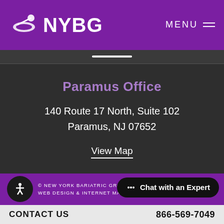NYBG MENU
Paramus Office
140 Route 17 North, Suite 102
Paramus, NJ 07652
View Map
© NEW YORK BARIATRIC GROUP. ALL RIGHTS RESERVED. WEB DESIGN & INTERNET MARKETING BY STUDIO III
Chat with an Expert
CONTACT US
866-569-7049